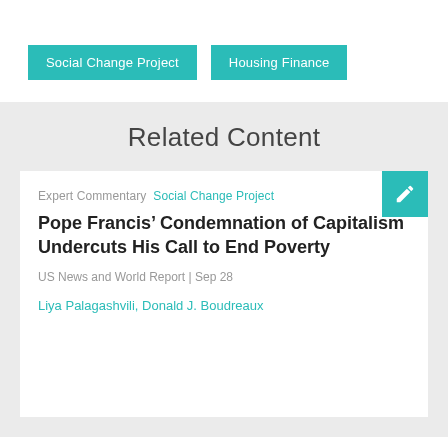Social Change Project
Housing Finance
Related Content
Expert Commentary  Social Change Project
Pope Francis’ Condemnation of Capitalism Undercuts His Call to End Poverty
US News and World Report | Sep 28
Liya Palagashvili, Donald J. Boudreaux